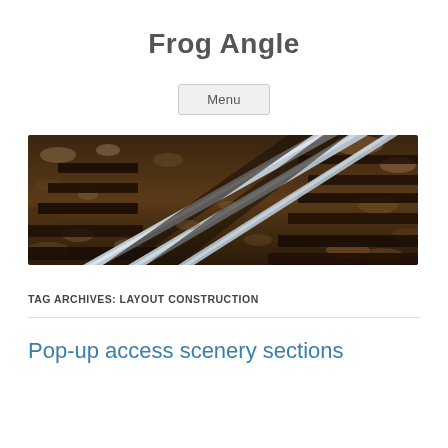Frog Angle
Menu
[Figure (photo): Close-up photograph of railway tracks and rail switch components, showing steel rails, wooden sleepers, and gravel ballast from an elevated angle. The rails converge toward the upper right.]
TAG ARCHIVES: LAYOUT CONSTRUCTION
Pop-up access scenery sections